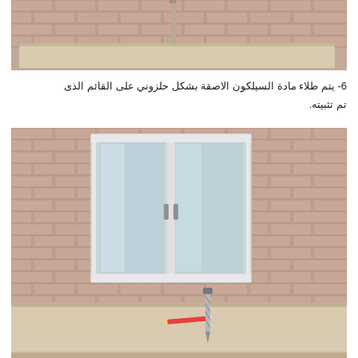[Figure (illustration): 3D rendering of a stone/concrete shelf mounted on a brick wall, viewed from a slightly elevated angle, showing the shelf surface and a partial vertical post/frame element at top.]
6- يتم طلاء مادة السيلكون الاصقة بشكل حلزوني على القائم الذى تم تثبيته.
[Figure (illustration): 3D rendering of a white double door (French doors) mounted on a brick wall, with a concrete shelf in the foreground showing a pencil/marker and a drill bit placed on the shelf surface.]